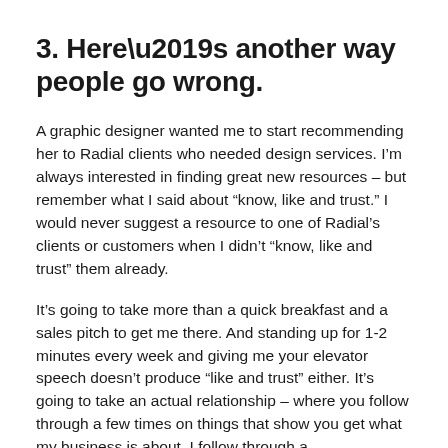3. Here’s another way people go wrong.
A graphic designer wanted me to start recommending her to Radial clients who needed design services. I’m always interested in finding great new resources – but remember what I said about “know, like and trust.” I would never suggest a resource to one of Radial’s clients or customers when I didn’t “know, like and trust” them already.
It’s going to take more than a quick breakfast and a sales pitch to get me there. And standing up for 1-2 minutes every week and giving me your elevator speech doesn’t produce “like and trust” either. It’s going to take an actual relationship – where you follow through a few times on things that show you get what my business is about. I follow through a